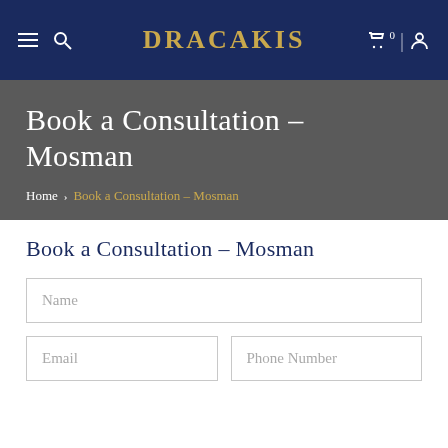DRACAKIS
Book a Consultation – Mosman
Home › Book a Consultation – Mosman
Book a Consultation – Mosman
Name
Email
Phone Number